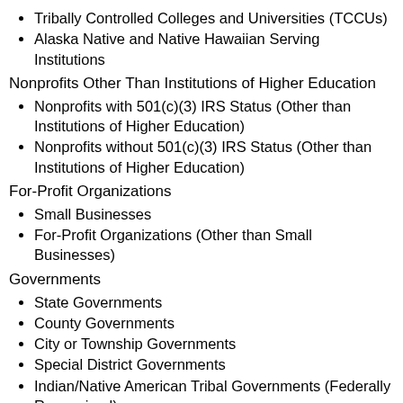Tribally Controlled Colleges and Universities (TCCUs)
Alaska Native and Native Hawaiian Serving Institutions
Nonprofits Other Than Institutions of Higher Education
Nonprofits with 501(c)(3) IRS Status (Other than Institutions of Higher Education)
Nonprofits without 501(c)(3) IRS Status (Other than Institutions of Higher Education)
For-Profit Organizations
Small Businesses
For-Profit Organizations (Other than Small Businesses)
Governments
State Governments
County Governments
City or Township Governments
Special District Governments
Indian/Native American Tribal Governments (Federally Recognized)
Indian/Native American Tribal Governments (Other than Federally Recognized)
U.S. Territory or Possession